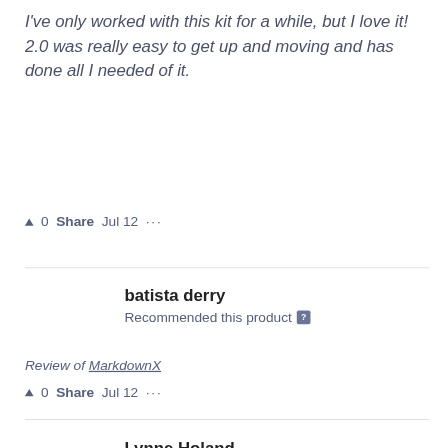I've only worked with this kit for a while, but I love it! 2.0 was really easy to get up and moving and has done all I needed of it.
▲ 0   Share   Jul 12   ···
batista derry
Recommended this product
Review of MarkdownX
▲ 0   Share   Jul 12   ···
Lynne Holand
Recommended this product
Review of MarkdownX